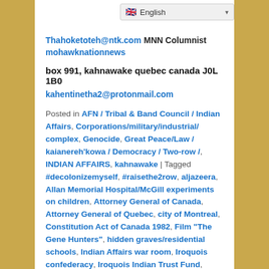English
Thahoketoteh@ntk.com  MNN Columnist
mohawknationnews
box 991, kahnawake quebec canada J0L 1B0
kahentinetha2@protonmail.com
Posted in AFN / Tribal & Band Council / Indian Affairs, Corporations/military/industrial/ complex, Genocide, Great Peace/Law / kaianereh'kowa / Democracy / Two-row /, INDIAN AFFAIRS, kahnawake | Tagged #decolonizemyself, #raisethe2row, aljazeera, Allan Memorial Hospital/McGill experiments on children, Attorney General of Canada, Attorney General of Quebec, city of Montreal, Constitution Act of Canada 1982, Film "The Gene Hunters", hidden graves/residential schools, Indian Affairs war room, Iroquois confederacy, Iroquois Indian Trust Fund, kahnistensera mohawk mothers, McGill University, Medical Services Canada & Quebec, MI5/CIA/CSIS/ PLAN GENOCIDE, MKULTRA, Mohawk language, Montreal Mohawk Land, PLANNED EXTINCTION PART 2 – FRAMEWORK AGREEMENT How Canada Plans to Continue to Live Off the Avails of Crime – It's Obvious the